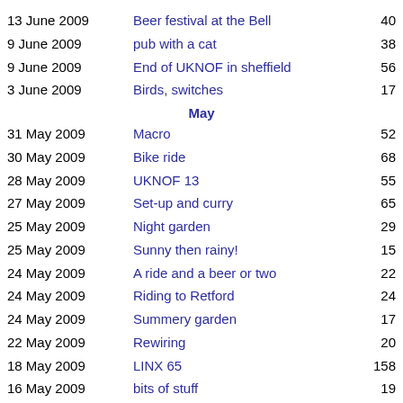13 June 2009 | Beer festival at the Bell | 40
9 June 2009 | pub with a cat | 38
9 June 2009 | End of UKNOF in sheffield | 56
3 June 2009 | Birds, switches | 17
May
31 May 2009 | Macro | 52
30 May 2009 | Bike ride | 68
28 May 2009 | UKNOF 13 | 55
27 May 2009 | Set-up and curry | 65
25 May 2009 | Night garden | 29
25 May 2009 | Sunny then rainy! | 15
24 May 2009 | A ride and a beer or two | 22
24 May 2009 | Riding to Retford | 24
24 May 2009 | Summery garden | 17
22 May 2009 | Rewiring | 20
18 May 2009 | LINX 65 | 158
16 May 2009 | bits of stuff | 19
10 May 2009 | Lake | 15
9 May 2009 | Barbeque at paulc's | 34
3 May 2009 | Reading and pints | 10
2 May 2009 | Crispy - at a river | 48